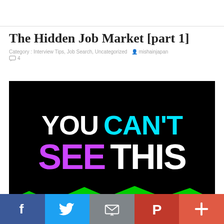The Hidden Job Market [part 1]
Category : Interview Tips, Job Search, Uncategorized  mishainjapan
4
[Figure (photo): Black background image with colorful bold text reading 'You CAN'T SEE THIS' — 'You' and 'THIS' in white, 'CAN'T' in cyan/aqua, 'SEE' in purple/magenta. Green shapes visible at the bottom edge.]
Social share bar with Facebook, Twitter, Email, Pinterest, and More buttons